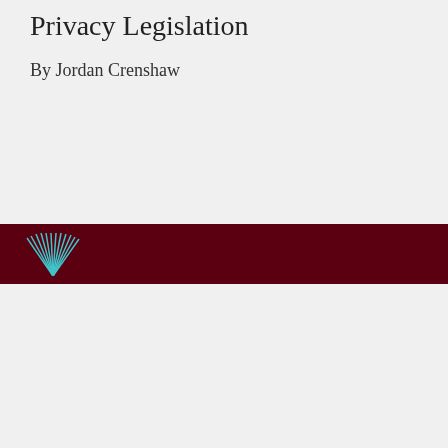Privacy Legislation
By Jordan Crenshaw
[Figure (logo): Circular sunburst/fan logo in teal/cyan on dark maroon bar]
Cookie Notice
×
By clicking “Accept All”, you agree to the storing of cookies on your device to enhance site navigation, analyze site usage, and assist in our marketing efforts.
Review Settings   Accept All